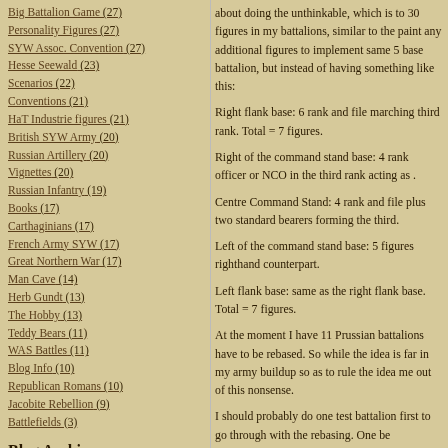Big Battalion Game (27)
Personality Figures (27)
SYW Assoc. Convention (27)
Hesse Seewald (23)
Scenarios (22)
Conventions (21)
HaT Industrie figures (21)
British SYW Army (20)
Russian Artillery (20)
Vignettes (20)
Russian Infantry (19)
Books (17)
Carthaginians (17)
French Army SYW (17)
Great Northern War (17)
Man Cave (14)
Herb Gundt (13)
The Hobby (13)
Teddy Bears (11)
WAS Battles (11)
Blog Info (10)
Republican Romans (10)
Jacobite Rebellion (9)
Battlefields (3)
Blog Archive
► 2022 (64)
► 2021 (103)
about doing the unthinkable, which is to 30 figures in my battalions, similar to the paint any additional figures to implement same 5 base battalion, but instead of having something like this:
Right flank base: 6 rank and file marching third rank. Total = 7 figures.
Right of the command stand base: 4 rank officer or NCO in the third rank acting as .
Centre Command Stand: 4 rank and file plus two standard bearers forming the third.
Left of the command stand base: 5 figures righthand counterpart.
Left flank base: same as the right flank base. Total = 7 figures.
At the moment I have 11 Prussian battalions have to be rebased. So while the idea is far in my army buildup so as to rule the idea me out of this nonsense.
I should probably do one test battalion first to go through with the rebasing. One be